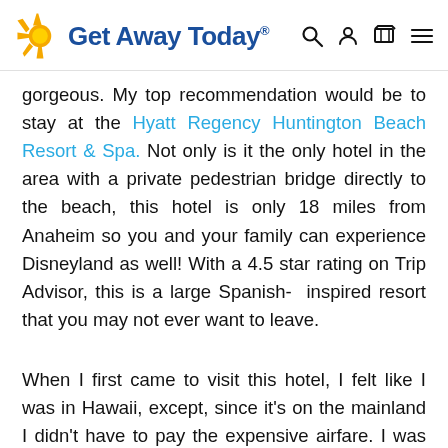Get Away Today
gorgeous. My top recommendation would be to stay at the Hyatt Regency Huntington Beach Resort & Spa. Not only is it the only hotel in the area with a private pedestrian bridge directly to the beach, this hotel is only 18 miles from Anaheim so you and your family can experience Disneyland as well! With a 4.5 star rating on Trip Advisor, this is a large Spanish- inspired resort that you may not ever want to leave.
When I first came to visit this hotel, I felt like I was in Hawaii, except, since it's on the mainland I didn't have to pay the expensive airfare. I was in awe the entire time looking at